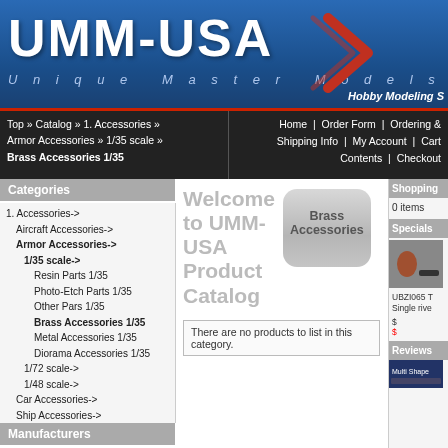[Figure (logo): UMM-USA logo with blue background, large white bold text, arrow graphic, and 'Unique Master Models' subtitle]
Top » Catalog » 1. Accessories » Armor Accessories » 1/35 scale » Brass Accessories 1/35 | Home | Order Form | Ordering & Shipping Info | My Account | Cart Contents | Checkout
Categories
1. Accessories->
Aircraft Accessories->
Armor Accessories->
1/35 scale->
Resin Parts 1/35
Photo-Etch Parts 1/35
Other Pars 1/35
Brass Accessories 1/35
Metal Accessories 1/35
Diorama Accessories 1/35
1/72 scale->
1/48 scale->
Car Accessories->
Ship Accessories->
Miscellaneous Accessories
Other Accessories
2. Model Kits->
3. Decals / Masks->
4. Tools / Supplies->
5. Magazines / Books->
6. Miscellaneous->
7. Second Chance->
Welcome to UMM-USA Product Catalog
[Figure (illustration): Brass Accessories badge - rounded rectangle with grey gradient and text]
There are no products to list in this category.
Shopping
0 items
Specials
UBZI065 T Single rive
Reviews
[Figure (screenshot): Multi Shape product image thumbnail]
Manufacturers